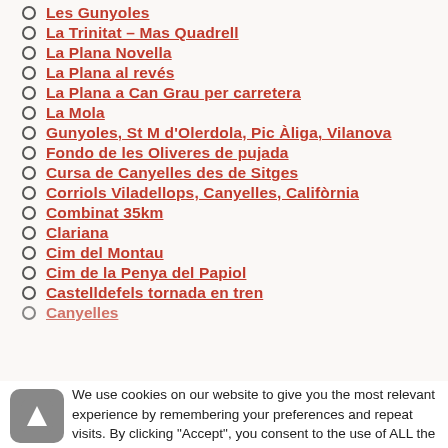Les Gunyoles
La Trinitat – Mas Quadrell
La Plana Novella
La Plana al revés
La Plana a Can Grau per carretera
La Mola
Gunyoles, St M d'Olerdola, Pic Àliga, Vilanova
Fondo de les Oliveres de pujada
Cursa de Canyelles des de Sitges
Corriols Viladellops, Canyelles, Califòrnia
Combinat 35km
Clariana
Cim del Montau
Cim de la Penya del Papiol
Castelldefels tornada en tren
Canyelles (partial)
We use cookies on our website to give you the most relevant experience by remembering your preferences and repeat visits. By clicking "Accept", you consent to the use of ALL the